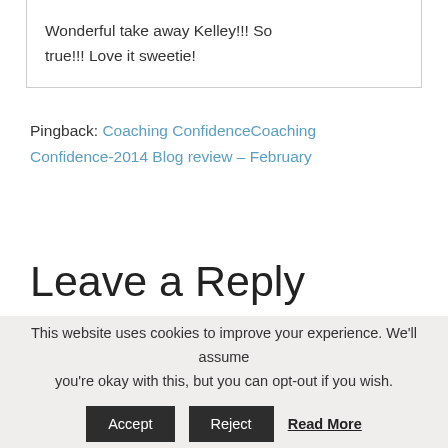Wonderful take away Kelley!!! So true!!! Love it sweetie!
Pingback: Coaching ConfidenceCoaching Confidence-2014 Blog review – February
Leave a Reply
Your email address will not be published. Required fields are marked *
This website uses cookies to improve your experience. We'll assume you're okay with this, but you can opt-out if you wish. Accept Reject Read More